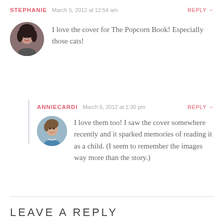STEPHANIE   March 5, 2012 at 12:54 am   REPLY →
[Figure (photo): Round avatar photo of Stephanie, a woman with dark hair]
I love the cover for The Popcorn Book! Especially those cats!
ANNIECARDI   March 5, 2012 at 1:30 pm   REPLY →
[Figure (photo): Round avatar photo of Anniecardi, a woman with short brown hair and blue top]
I love them too! I saw the cover somewhere recently and it sparked memories of reading it as a child. (I seem to remember the images way more than the story.)
LEAVE A REPLY